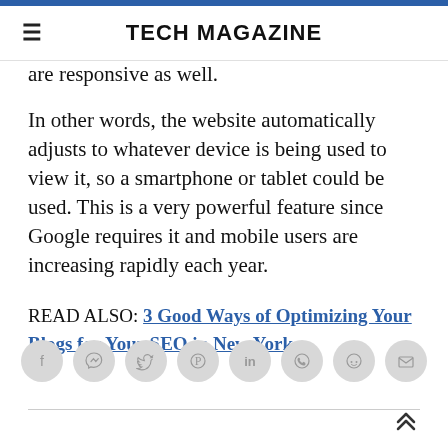TECH MAGAZINE
are responsive as well.
In other words, the website automatically adjusts to whatever device is being used to view it, so a smartphone or tablet could be used. This is a very powerful feature since Google requires it and mobile users are increasing rapidly each year.
READ ALSO: 3 Good Ways of Optimizing Your Blogs for Your SEO in New York
[Figure (other): Row of 8 circular social media share/action icon buttons (Facebook, Messenger, Twitter, Pinterest, LinkedIn, WhatsApp, Reddit, Email) in light grey circles]
Back to top arrow (chevron up icon)